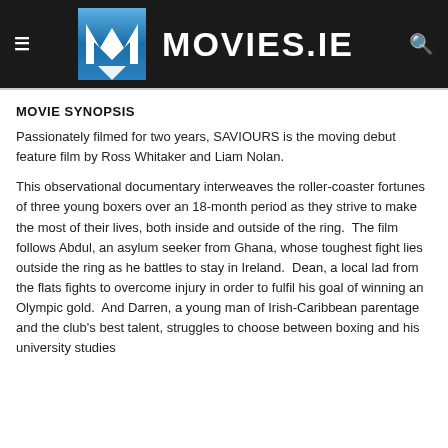[Figure (logo): Movies.ie website header with hamburger menu, blue M logo, MOVIES.IE text in white on black, and search icon]
MOVIE SYNOPSIS
Passionately filmed for two years, SAVIOURS is the moving debut feature film by Ross Whitaker and Liam Nolan.
This observational documentary interweaves the roller-coaster fortunes of three young boxers over an 18-month period as they strive to make the most of their lives, both inside and outside of the ring.  The film follows Abdul, an asylum seeker from Ghana, whose toughest fight lies outside the ring as he battles to stay in Ireland.  Dean, a local lad from the flats fights to overcome injury in order to fulfil his goal of winning an Olympic gold.  And Darren, a young man of Irish-Caribbean parentage and the club's best talent, struggles to choose between boxing and his university studies